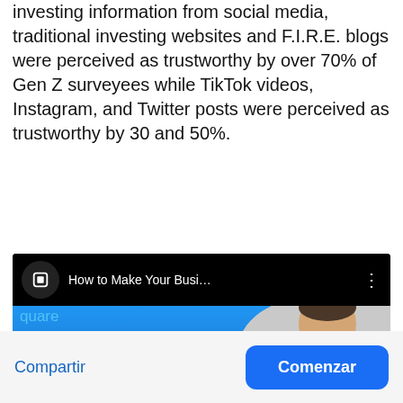investing information from social media, traditional investing websites and F.I.R.E. blogs were perceived as trustworthy by over 70% of Gen Z surveyees while TikTok videos, Instagram, and Twitter posts were perceived as trustworthy by 30 and 50%.
[Figure (screenshot): Screenshot of a YouTube video titled 'How to Make Your Busi...' with a channel icon showing a square logo, a person visible on the right side, blue background with crown/star shapes and the text 'quare' visible.]
Compartir
Comenzar